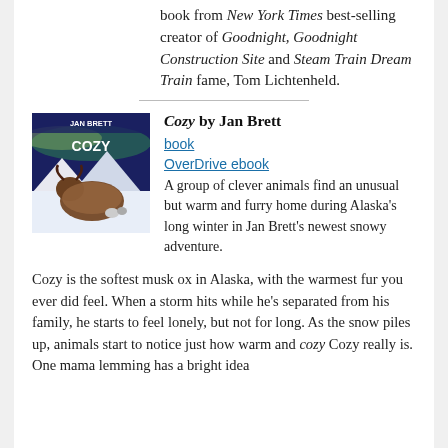book from New York Times best-selling creator of Goodnight, Goodnight Construction Site and Steam Train Dream Train fame, Tom Lichtenheld.
[Figure (illustration): Book cover of 'Cozy' by Jan Brett, showing a musk ox in a snowy Alaskan landscape with other animals, aurora borealis in background.]
Cozy by Jan Brett
book
OverDrive ebook
A group of clever animals find an unusual but warm and furry home during Alaska’s long winter in Jan Brett’s newest snowy adventure.
Cozy is the softest musk ox in Alaska, with the warmest fur you ever did feel. When a storm hits while he’s separated from his family, he starts to feel lonely, but not for long. As the snow piles up, animals start to notice just how warm and cozy Cozy really is. One mama lemming has a bright idea